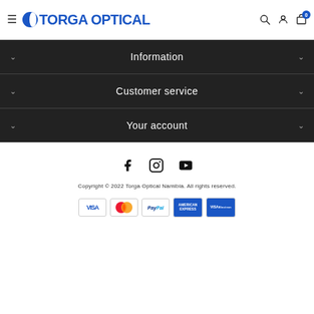Torga Optical — site header with logo, search, account, and cart icons
Information
Customer service
Your account
[Figure (infographic): Social media icons: Facebook, Instagram, YouTube]
Copyright © 2022 Torga Optical Namibia. All rights reserved.
[Figure (infographic): Payment method icons: VISA, Mastercard, PayPal, American Express, VISA Electron]